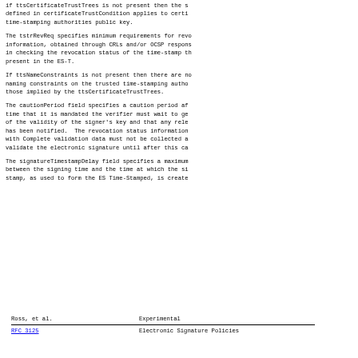if ttsCertificateTrustTrees is not present then the s defined in certificateTrustCondition applies to certi time-stamping authorities public key.
The tstrRevReq specifies minimum requirements for revo information, obtained through CRLs and/or OCSP respons in checking the revocation status of the time-stamp th present in the ES-T.
If ttsNameConstraints is not present then there are no naming constraints on the trusted time-stamping autho those implied by the ttsCertificateTrustTrees.
The cautionPeriod field specifies a caution period af time that it is mandated the verifier must wait to ge of the validity of the signer's key and that any rele has been notified.  The revocation status information with Complete validation data must not be collected a validate the electronic signature until after this ca
The signatureTimestampDelay field specifies a maximum between the signing time and the time at which the si stamp, as used to form the ES Time-Stamped, is create
Ross, et al.                    Experimental
RFC 3125                    Electronic Signature Policies